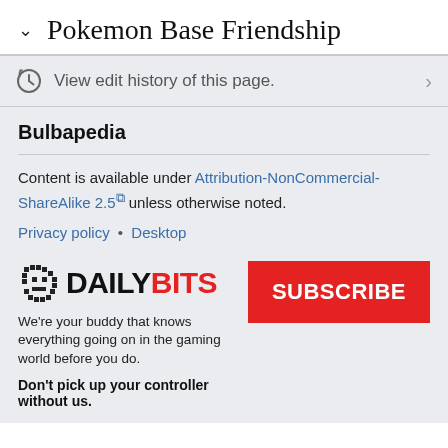Pokemon Base Friendship
View edit history of this page.
Bulbapedia
Content is available under Attribution-NonCommercial-ShareAlike 2.5 unless otherwise noted.
Privacy policy • Desktop
[Figure (logo): DailyBits logo with pixelated icon, DAILY in black bold and BITS in red bold]
We're your buddy that knows everything going on in the gaming world before you do.
Don't pick up your controller without us.
SUBSCRIBE